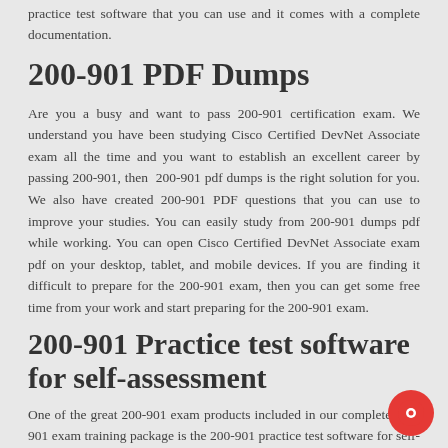practice test software that you can use and it comes with a complete documentation.
200-901 PDF Dumps
Are you a busy and want to pass 200-901 certification exam. We understand you have been studying Cisco Certified DevNet Associate exam all the time and you want to establish an excellent career by passing 200-901, then 200-901 pdf dumps is the right solution for you. We also have created 200-901 PDF questions that you can use to improve your studies. You can easily study from 200-901 dumps pdf while working. You can open Cisco Certified DevNet Associate exam pdf on your desktop, tablet, and mobile devices. If you are finding it difficult to prepare for the 200-901 exam, then you can get some free time from your work and start preparing for the 200-901 exam.
200-901 Practice test software for self-assessment
One of the great 200-901 exam products included in our complete 200-901 exam training package is the 200-901 practice test software for self-assessment. We highly recommend you to use 200-901 software completing the preparation of your exam. The interface of the 200-901